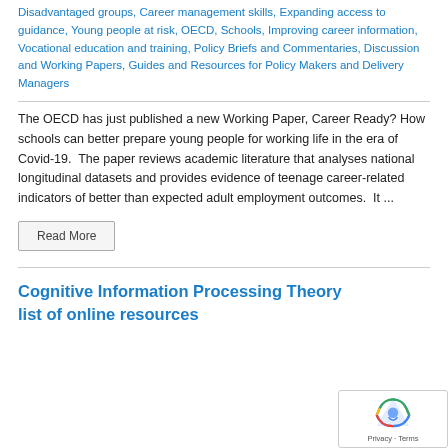Disadvantaged groups, Career management skills, Expanding access to guidance, Young people at risk, OECD, Schools, Improving career information, Vocational education and training, Policy Briefs and Commentaries, Discussion and Working Papers, Guides and Resources for Policy Makers and Delivery Managers
The OECD has just published a new Working Paper, Career Ready? How schools can better prepare young people for working life in the era of Covid-19.  The paper reviews academic literature that analyses national longitudinal datasets and provides evidence of teenage career-related indicators of better than expected adult employment outcomes.  It ...
Read More
Cognitive Information Processing Theory list of online resources